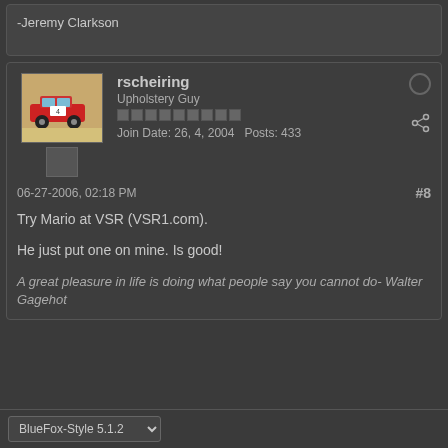-Jeremy Clarkson
rscheiring
Upholstery Guy
Join Date: 26, 4, 2004   Posts: 433
06-27-2006, 02:18 PM   #8
Try Mario at VSR (VSR1.com).

He just put one on mine. Is good!
A great pleasure in life is doing what people say you cannot do- Walter Gagehot
BlueFox-Style 5.1.2